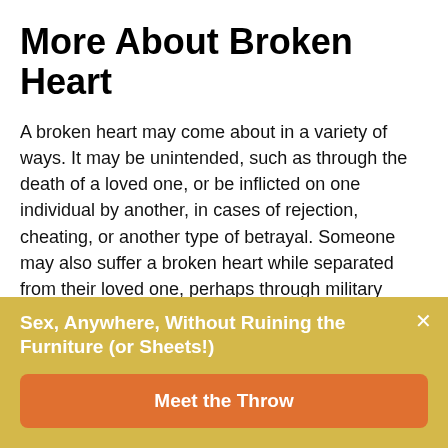More About Broken Heart
A broken heart may come about in a variety of ways. It may be unintended, such as through the death of a loved one, or be inflicted on one individual by another, in cases of rejection, cheating, or another type of betrayal. Someone may also suffer a broken heart while separated from their loved one, perhaps through military service or due to other circumstances, even if the relationship is not over.
A broken heart is so named because people dealing with
Sex, Anywhere, Without Ruining the Furniture (or Sheets!)
Meet the Throw